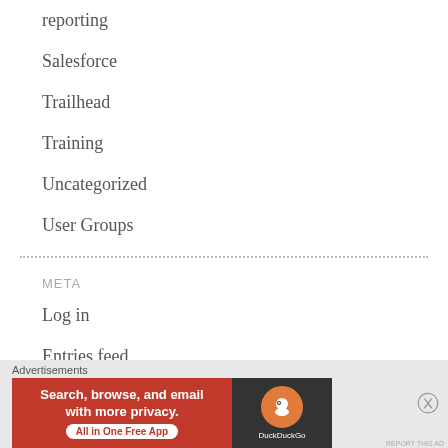reporting
Salesforce
Trailhead
Training
Uncategorized
User Groups
META
Log in
Entries feed
Comments feed
Advertisements
[Figure (screenshot): DuckDuckGo advertisement banner: 'Search, browse, and email with more privacy. All in One Free App' with DuckDuckGo logo on dark background]